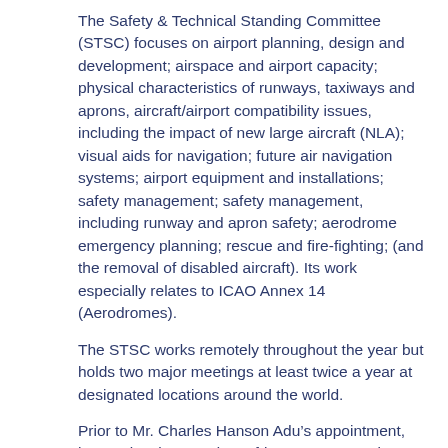The Safety & Technical Standing Committee (STSC) focuses on airport planning, design and development; airspace and airport capacity; physical characteristics of runways, taxiways and aprons, aircraft/airport compatibility issues, including the impact of new large aircraft (NLA); visual aids for navigation; future air navigation systems; airport equipment and installations; safety management; safety management, including runway and apron safety; aerodrome emergency planning; rescue and fire-fighting; (and the removal of disabled aircraft). Its work especially relates to ICAO Annex 14 (Aerodromes).
The STSC works remotely throughout the year but holds two major meetings at least twice a year at designated locations around the world.
Prior to Mr. Charles Hanson Adu’s appointment, he previously served as Africa’s representative on the STSC. He has been part of various working groups of the STSC leading to the development of guidance documents such as:
– The Emergency Preparedness and Contingency Planning Handbook